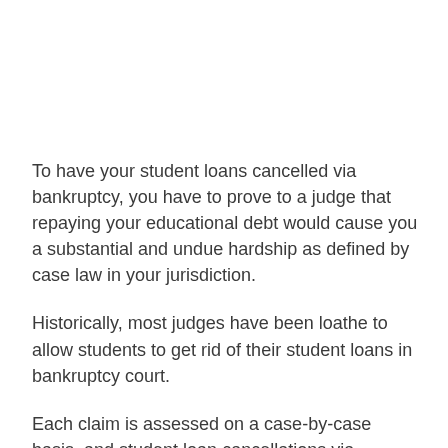To have your student loans cancelled via bankruptcy, you have to prove to a judge that repaying your educational debt would cause you a substantial and undue hardship as defined by case law in your jurisdiction.
Historically, most judges have been loathe to allow students to get rid of their student loans in bankruptcy court.
Each claim is assessed on a case-by-case basis, and student loan cancellations via bankruptcy are highly rare, even among those who've tried to demonstrate severe